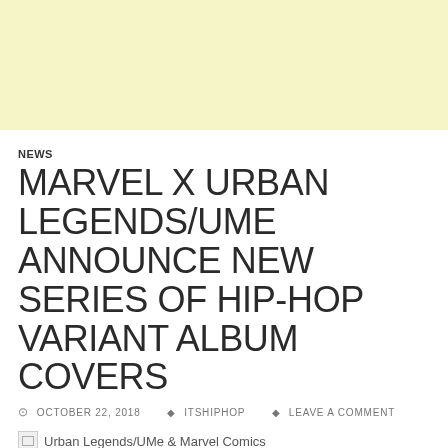[Figure (other): Light yellow advertisement banner at top of page]
NEWS
MARVEL X URBAN LEGENDS/UME ANNOUNCE NEW SERIES OF HIP-HOP VARIANT ALBUM COVERS
OCTOBER 22, 2018  ITSHIPHOP  LEAVE A COMMENT
[Figure (photo): Broken image placeholder with caption: Urban Legends/UMe & Marvel Comics]